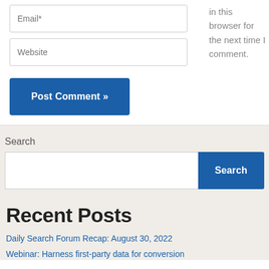Email*
in this browser for the next time I comment.
Website
Post Comment »
Search
Search
Recent Posts
Daily Search Forum Recap: August 30, 2022
Webinar: Harness first-party data for conversion